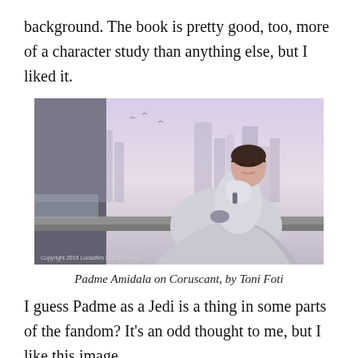background. The book is pretty good, too, more of a character study than anything else, but I liked it.
[Figure (illustration): Digital illustration of Padme Amidala in white robes and gloves, standing on a balcony overlooking the futuristic cityscape of Coruscant. Copyright 2019 Lucasfilm LTD & Disney.]
Padme Amidala on Coruscant, by Toni Foti
I guess Padme as a Jedi is a thing in some parts of the fandom? It's an odd thought to me, but I like this image